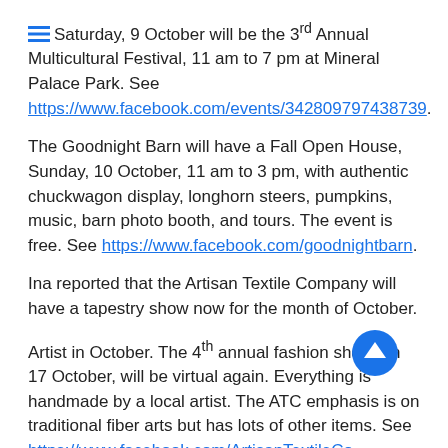Saturday, 9 October will be the 3rd Annual Multicultural Festival, 11 am to 7 pm at Mineral Palace Park. See https://www.facebook.com/events/342809797438739.
The Goodnight Barn will have a Fall Open House, Sunday, 10 October, 11 am to 3 pm, with authentic chuckwagon display, longhorn steers, pumpkins, music, barn photo booth, and tours. The event is free. See https://www.facebook.com/goodnightbarn.
Ina reported that the Artisan Textile Company will have a tapestry show now for the month of October.
Artist in October. The 4th annual fashion show, on 17 October, will be virtual again. Everything is handmade by a local artist. The ATC emphasis is on traditional fiber arts but has lots of other items. See https://www.facebook.com/ArtisanTextileCo.
15 October is the deadline for this round of grants for individual and companies for Colorado Creative Industries Grants from OEDIT (Office of Economic Development &